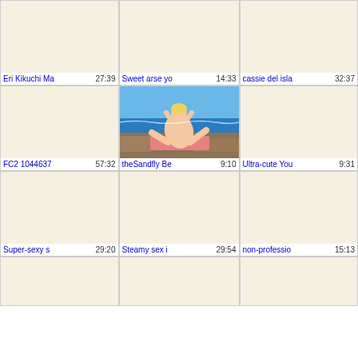[Figure (screenshot): Video thumbnail grid showing adult video content with titles and durations. Row 1: 'Eri Kikuchi Ma' 27:39, 'Sweet arse yo' 14:33, 'cassie del isla' 32:37. Row 2: 'FC2 1044637' 57:32, 'theSandfly Be' 9:10 (beach photo visible), 'Ultra-cute You' 9:31. Row 3: 'Super-sexy s' 29:20, 'Steamy sex i' 29:54, 'non-professio' 15:13. Row 4: Three more thumbnails partially visible.]